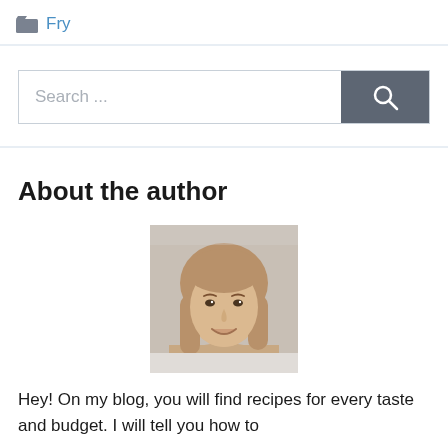Fry
[Figure (other): Search bar with text input field showing placeholder 'Search ...' and a dark grey search button with magnifying glass icon]
About the author
[Figure (photo): Portrait photo of a young woman with long light brown hair, smiling, against a light background]
Hey! On my blog, you will find recipes for every taste and budget. I will tell you how to